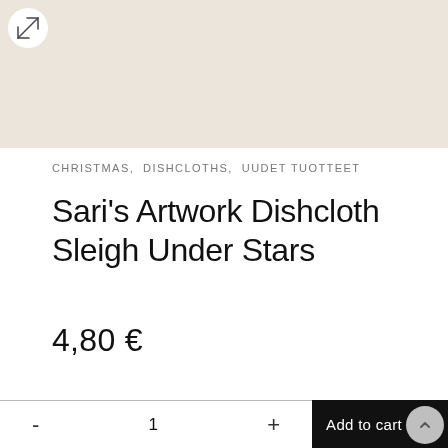[Figure (photo): Product image of a dishcloth with a sleigh under stars design, shown on a warm beige/cream background. An expand/fullscreen icon button is in the top-left corner.]
CHRISTMAS, DISHCLOTHS, UUDET TUOTTEET
Sari's Artwork Dishcloth Sleigh Under Stars
4,80 €
- 1 + Add to cart